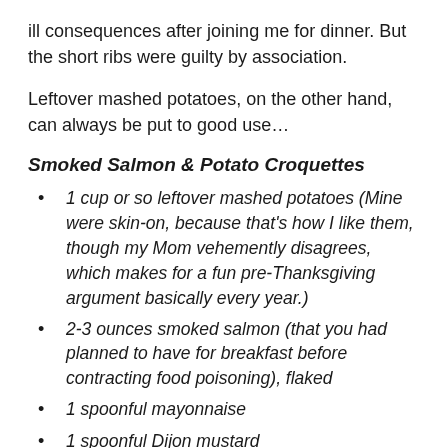ill consequences after joining me for dinner. But the short ribs were guilty by association.
Leftover mashed potatoes, on the other hand, can always be put to good use…
Smoked Salmon & Potato Croquettes
1 cup or so leftover mashed potatoes (Mine were skin-on, because that's how I like them, though my Mom vehemently disagrees, which makes for a fun pre-Thanksgiving argument basically every year.)
2-3 ounces smoked salmon (that you had planned to have for breakfast before contracting food poisoning), flaked
1 spoonful mayonnaise
1 spoonful Dijon mustard